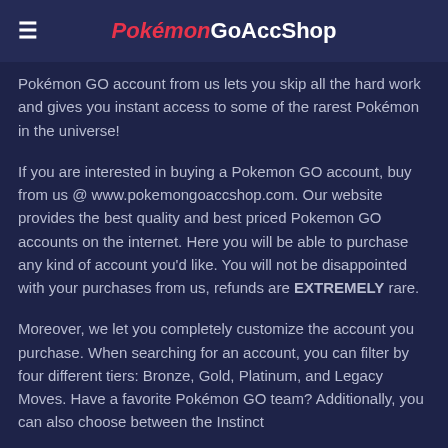PokémonGoAccShop
Pokémon GO account from us lets you skip all the hard work and gives you instant access to some of the rarest Pokémon in the universe!
If you are interested in buying a Pokemon GO account, buy from us @ www.pokemongoaccshop.com. Our website provides the best quality and best priced Pokemon GO accounts on the internet. Here you will be able to purchase any kind of account you'd like. You will not be disappointed with your purchases from us, refunds are EXTREMELY rare.
Moreover, we let you completely customize the account you purchase. When searching for an account, you can filter by four different tiers: Bronze, Gold, Platinum, and Legacy Moves. Have a favorite Pokémon GO team? Additionally, you can also choose between the Instinct